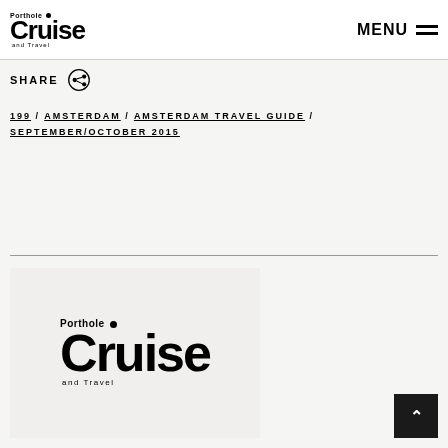Porthole Cruise and Travel — MENU
SHARE
199 / AMSTERDAM / AMSTERDAM TRAVEL GUIDE / SEPTEMBER/OCTOBER 2015
[Figure (logo): Porthole Cruise and Travel logo (large, bottom section)]